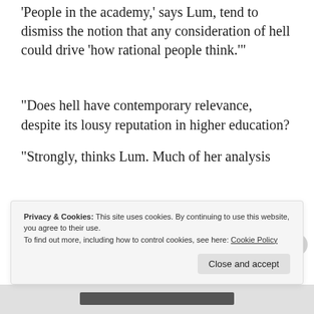'People in the academy,' says Lum, tend to dismiss the notion that any consideration of hell could drive 'how rational people think.'
“Does hell have contemporary relevance, despite its lousy reputation in higher education?
“Strongly, thinks Lum. Much of her analysis
Privacy & Cookies: This site uses cookies. By continuing to use this website, you agree to their use.
To find out more, including how to control cookies, see here: Cookie Policy
Close and accept